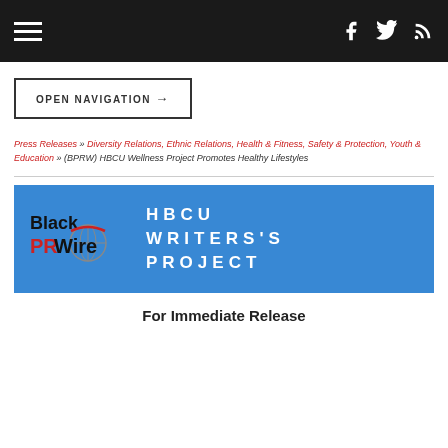Navigation bar with hamburger menu and social icons (Facebook, Twitter, RSS)
OPEN NAVIGATION →
Press Releases » Diversity Relations, Ethnic Relations, Health & Fitness, Safety & Protection, Youth & Education » (BPRW) HBCU Wellness Project Promotes Healthy Lifestyles
[Figure (logo): Black PR Wire logo with globe icon and HBCU WRITERS'S PROJECT text on blue background]
For Immediate Release